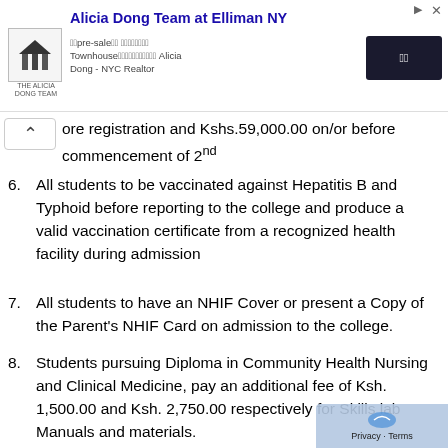[Figure (screenshot): Advertisement banner for Alicia Dong Team at Elliman NY, a NYC real estate realtor, with logo, text about pre-sale Townhouse listings, and a button.]
ore registration and Kshs.59,000.00 on/or before commencement of 2nd
6. All students to be vaccinated against Hepatitis B and Typhoid before reporting to the college and produce a valid vaccination certificate from a recognized health facility during admission
7. All students to have an NHIF Cover or present a Copy of the Parent's NHIF Card on admission to the college.
8. Students pursuing Diploma in Community Health Nursing and Clinical Medicine, pay an additional fee of Ksh. 1,500.00 and Ksh. 2,750.00 respectively for Skills lab Manuals and materials.
9. Fees is payable in two installments i.e. Kshs.59,000 semester payable at the beginning of the semester.